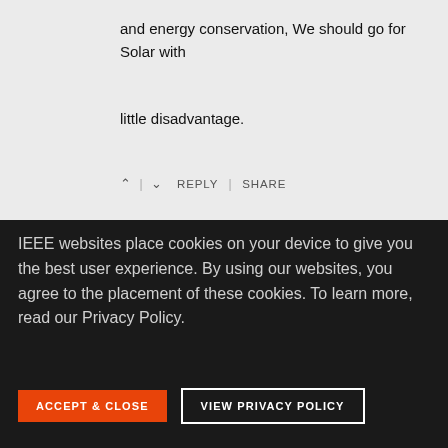and energy conservation, We should go for Solar with little disadvantage.
^ | v   REPLY | SHARE
IEEE websites place cookies on your device to give you the best user experience. By using our websites, you agree to the placement of these cookies. To learn more, read our Privacy Policy.
ACCEPT & CLOSE   VIEW PRIVACY POLICY